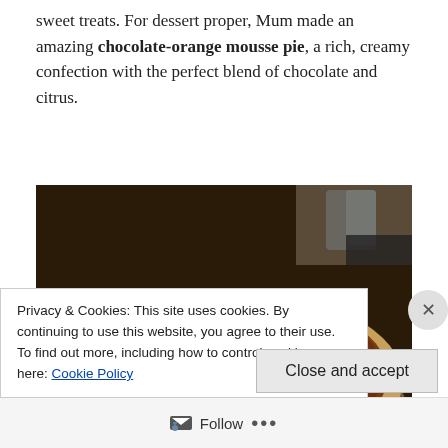sweet treats. For dessert proper, Mum made an amazing chocolate-orange mousse pie, a rich, creamy confection with the perfect blend of chocolate and citrus.
[Figure (photo): A chocolate-orange mousse pie in a round tin, with a golden biscuit crust visible around the edges. The smooth dark chocolate mousse filling is decorated with orange crumble pieces on top. One slice has been removed, revealing the thick creamy filling. The pie sits on a foil tray with glassware visible in the background.]
Privacy & Cookies: This site uses cookies. By continuing to use this website, you agree to their use.
To find out more, including how to control cookies, see here: Cookie Policy
Close and accept
Follow ...